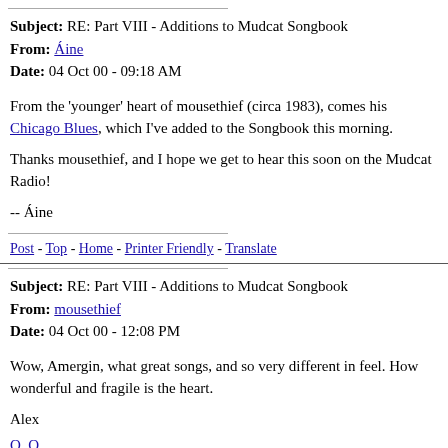Subject: RE: Part VIII - Additions to Mudcat Songbook
From: Áine
Date: 04 Oct 00 - 09:18 AM
From the 'younger' heart of mousethief (circa 1983), comes his Chicago Blues, which I've added to the Songbook this morning.
Thanks mousethief, and I hope we get to hear this soon on the Mudcat Radio!
-- Áine
Post - Top - Home - Printer Friendly - Translate
Subject: RE: Part VIII - Additions to Mudcat Songbook
From: mousethief
Date: 04 Oct 00 - 12:08 PM
Wow, Amergin, what great songs, and so very different in feel. How wonderful and fragile is the heart.
Alex
O,,O